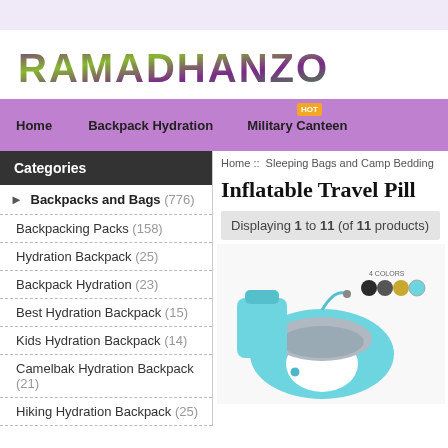[Figure (logo): RamadhanZone logo with colorful patterned letters]
Home  ::  Backpack Hydration  ::  Military Canteen
Inflatable Travel Pill...
Displaying 1 to 11 (of 11 products)
Categories
Backpacks and Bags (776)
Backpacking Packs (158)
Hydration Backpack (25)
Backpack Hydration (23)
Best Hydration Backpack (15)
Kids Hydration Backpack (14)
Camelbak Hydration Backpack (21)
Hiking Hydration Backpack (25)
[Figure (photo): Inflatable travel pillow in teal/blue color with gray interior, shown with carrying pouch. Color swatches showing 4 colors (black, dark gray, gold, teal).]